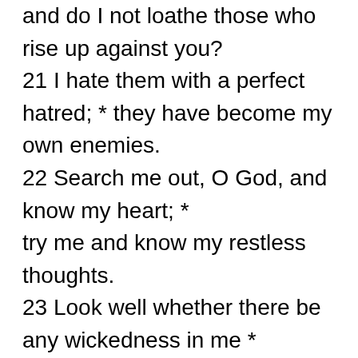and do I not loathe those who rise up against you?
21 I hate them with a perfect hatred; * they have become my own enemies.
22 Search me out, O God, and know my heart; *
try me and know my restless thoughts.
23 Look well whether there be any wickedness in me *
and lead me in the way that is everlasting.
Glory to the Father, and to the Son, and to the Holy Spirit: *
as it was in the beginning, is now, and will